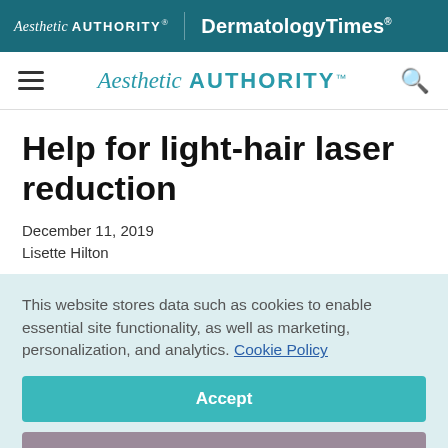Aesthetic Authority | DermatologyTimes
Aesthetic Authority
Help for light-hair laser reduction
December 11, 2019
Lisette Hilton
This website stores data such as cookies to enable essential site functionality, as well as marketing, personalization, and analytics. Cookie Policy
Accept
Deny